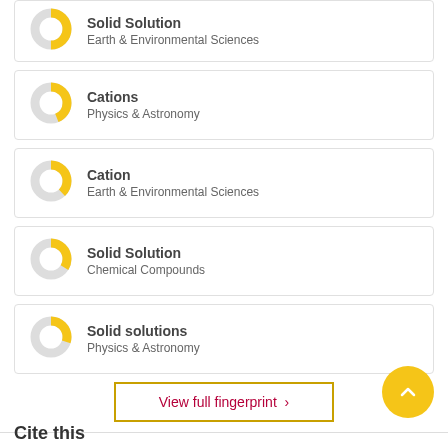[Figure (donut-chart): Partial donut chart icon yellow/gray for Solid Solution Earth & Environmental Sciences]
Solid Solution
Earth & Environmental Sciences
[Figure (donut-chart): Partial donut chart icon yellow/gray for Cations Physics & Astronomy]
Cations
Physics & Astronomy
[Figure (donut-chart): Partial donut chart icon yellow/gray for Cation Earth & Environmental Sciences]
Cation
Earth & Environmental Sciences
[Figure (donut-chart): Partial donut chart icon yellow/gray for Solid Solution Chemical Compounds]
Solid Solution
Chemical Compounds
[Figure (donut-chart): Partial donut chart icon yellow/gray for Solid solutions Physics & Astronomy]
Solid solutions
Physics & Astronomy
View full fingerprint ›
Cite this